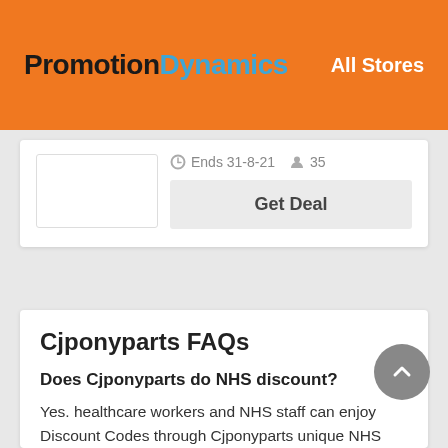PromotionDynamics — All Stores
Ends 31-8-21  35
Get Deal
Cjponyparts FAQs
Does Cjponyparts do NHS discount?
Yes. healthcare workers and NHS staff can enjoy Discount Codes through Cjponyparts unique NHS discount program. You need to provide Cjponyparts online with an employment certificate, usually in the form of an employee's